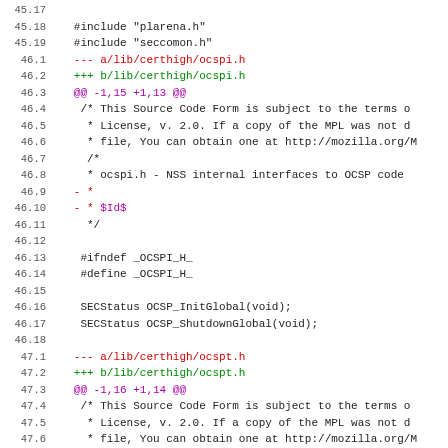Code diff showing changes to NSS library headers ocspi.h and ocspt.h, lines 45.17 through 47.12
[Figure (other): Source code diff viewer showing file changes for plarena.h, seccomon.h, ocspi.h, and ocspt.h with line numbers, color-coded diff output (red for removed, green for added, purple for hunk headers)]